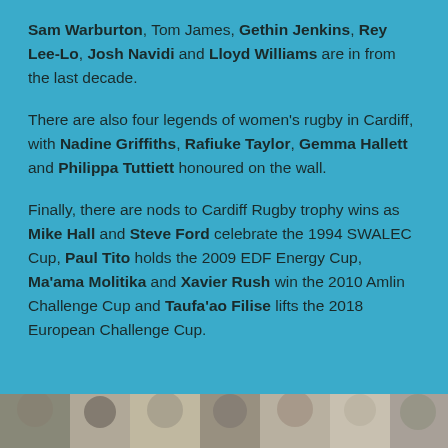Sam Warburton, Tom James, Gethin Jenkins, Rey Lee-Lo, Josh Navidi and Lloyd Williams are in from the last decade.
There are also four legends of women's rugby in Cardiff, with Nadine Griffiths, Rafiuke Taylor, Gemma Hallett and Philippa Tuttiett honoured on the wall.
Finally, there are nods to Cardiff Rugby trophy wins as Mike Hall and Steve Ford celebrate the 1994 SWALEC Cup, Paul Tito holds the 2009 EDF Energy Cup, Ma'ama Molitika and Xavier Rush win the 2010 Amlin Challenge Cup and Taufa'ao Filise lifts the 2018 European Challenge Cup.
[Figure (photo): A strip of photographs showing rugby players, partially visible at the bottom of the page.]